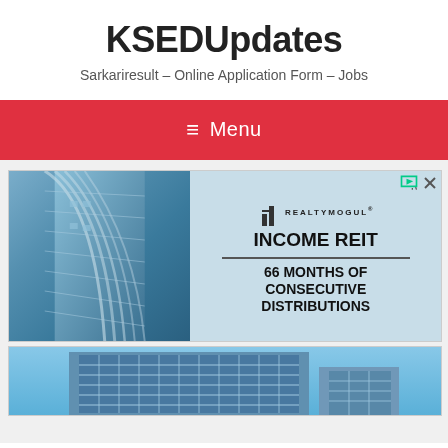KSEDUpdates
Sarkariresult – Online Application Form – Jobs
≡ Menu
[Figure (photo): Advertisement banner for RealtyMogul Income REIT showing a skyscraper on the left and text '66 MONTHS OF CONSECUTIVE DISTRIBUTIONS' on the right]
[Figure (photo): Partial view of a modern glass office building against a blue sky]